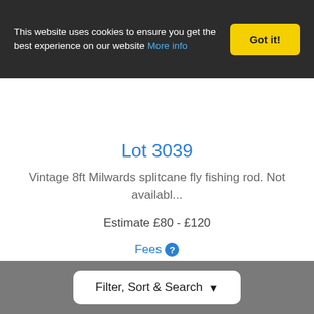This website uses cookies to ensure you get the best experience on our website More info
Got it!
Lot 3039
Vintage 8ft Milwards splitcane fly fishing rod. Not availabl...
Estimate £80 - £120
Fees
Watch Lot
Filter, Sort & Search